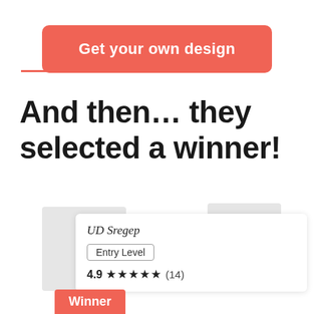Get your own design
And then... they selected a winner!
[Figure (screenshot): A design contest winner card showing designer 'UD Sregep' with Entry Level badge, 4.9 star rating with 14 reviews, and a Winner label at the bottom.]